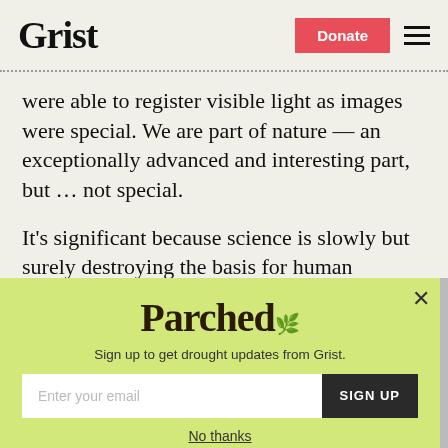Grist | Donate
were able to register visible light as images were special. We are part of nature — an exceptionally advanced and interesting part, but … not special.

It's significant because science is slowly but surely destroying the basis for human
[Figure (screenshot): Modal popup with 'Parched' newsletter signup. Contains title 'Parched', subtitle 'Sign up to get drought updates from Grist.', email input field, SIGN UP button, and 'No thanks' link. Close button (×) in top right corner.]